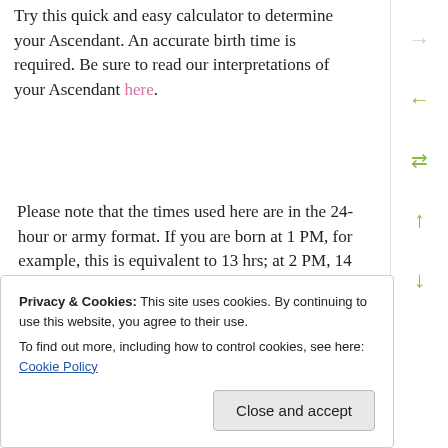Try this quick and easy calculator to determine your Ascendant. An accurate birth time is required. Be sure to read our interpretations of your Ascendant here.
Please note that the times used here are in the 24-hour or army format. If you are born at 1 PM, for example, this is equivalent to 13 hrs; at 2 PM, 14 hrs; and so forth.
Privacy & Cookies: This site uses cookies. By continuing to use this website, you agree to their use.
To find out more, including how to control cookies, see here: Cookie Policy